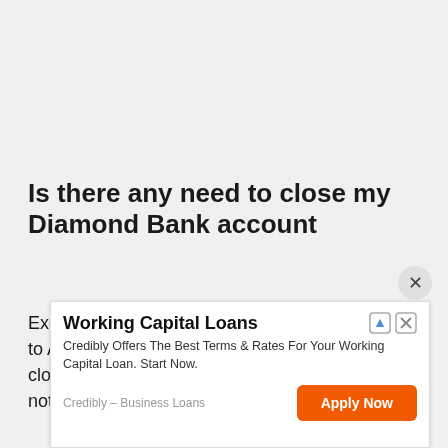Is there any need to close my Diamond Bank account
Except you are not comfortable being a customer to Access Bank, there is absolutely no need to close your account with Diamond Bank. This does not mean caution should be thrown out of the
[Figure (other): Advertisement overlay: Working Capital Loans — Credibly Offers The Best Terms & Rates For Your Working Capital Loan. Start Now. Button: Apply Now. Source: Credibly - Business Loans. Close button (X) at top right of ad.]